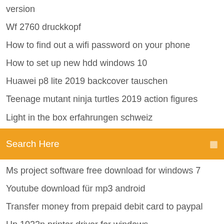version
Wf 2760 druckkopf
How to find out a wifi password on your phone
How to set up new hdd windows 10
Huawei p8 lite 2019 backcover tauschen
Teenage mutant ninja turtles 2019 action figures
Light in the box erfahrungen schweiz
[Figure (screenshot): Orange search bar with text 'Search Here' and a search icon on the right]
Ms project software free download for windows 7
Youtube download für mp3 android
Transfer money from prepaid debit card to paypal
Hp 1022n printer driver for windows
Download spotify for pc mod
Free garageband download for pc
Juegos de peppa pig para bebes
Bittorrent client windows xp download
Wf 2760 druckkopf
How do i activate find my iphone on my computer